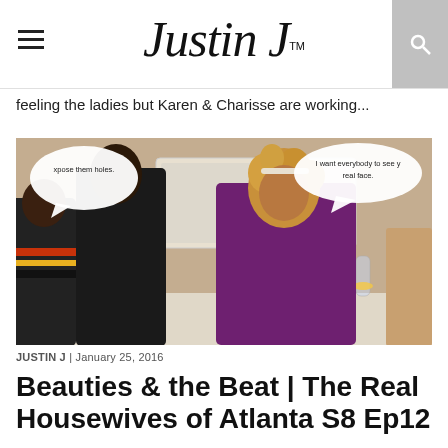Justin J™
feeling the ladies but Karen & Charisse are working...
[Figure (photo): A TV still from Real Housewives of Atlanta showing three women seated at a dinner table. Two women with dark hair face away/sideways, and a woman with curly blonde hair wears a purple top. Speech bubbles overlaid read: 'xpose them holes.' and 'I want everybody to see your real face.']
JUSTIN J | January 25, 2016
Beauties & the Beat | The Real Housewives of Atlanta S8 Ep12